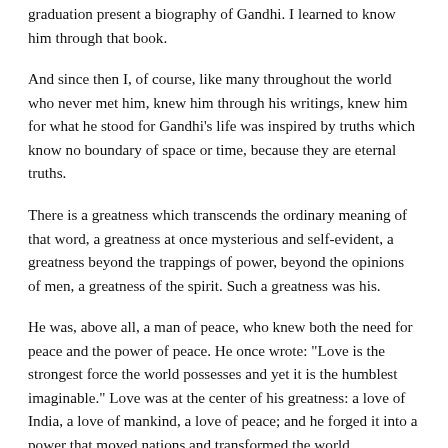graduation present a biography of Gandhi. I learned to know him through that book.
And since then I, of course, like many throughout the world who never met him, knew him through his writings, knew him for what he stood for Gandhi's life was inspired by truths which know no boundary of space or time, because they are eternal truths.
There is a greatness which transcends the ordinary meaning of that word, a greatness at once mysterious and self-evident, a greatness beyond the trappings of power, beyond the opinions of men, a greatness of the spirit. Such a greatness was his.
He was, above all, a man of peace, who knew both the need for peace and the power of peace. He once wrote: "Love is the strongest force the world possesses and yet it is the humblest imaginable." Love was at the center of his greatness: a love of India, a love of mankind, a love of peace; and he forged it into a power that moved nations and transformed the world.
As we reflect on his greatness, it is appropriate that we reflect also on the nature of peace.